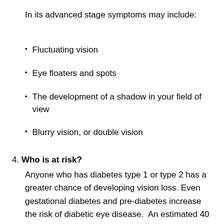In its advanced stage symptoms may include:
Fluctuating vision
Eye floaters and spots
The development of a shadow in your field of view
Blurry vision, or double vision
4. Who is at risk?
Anyone who has diabetes type 1 or type 2 has a greater chance of developing vision loss. Even gestational diabetes and pre-diabetes increase the risk of diabetic eye disease.  An estimated 40 to 45 percent of Americans diagnosed with diabetes have some degree of diabetic retinopathy, according to the NEI. That is why